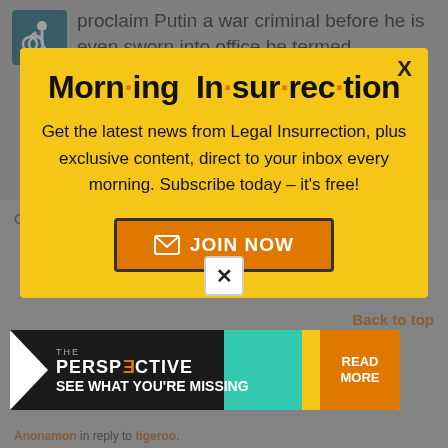Wouldn't Tillerson's refusal to openly proclaim Putin a war criminal before he is even sworn into office be termed "diplomatic"?
[Figure (screenshot): Modal popup newsletter subscription overlay for 'Morning Insurrection' on Legal Insurrection website with yellow background, close button X, title text with orange dot separators, subscription description text, and orange JOIN NOW button]
Get over it, Rubio. Your time has come and gone.
Back to top
[Figure (infographic): Advertisement banner for 'The Perspective' with reversed text logo, teal and yellow sections, 'SEE WHAT YOU'RE MISSING' text, and READ MORE button]
Anonamon in reply to tigeroo.